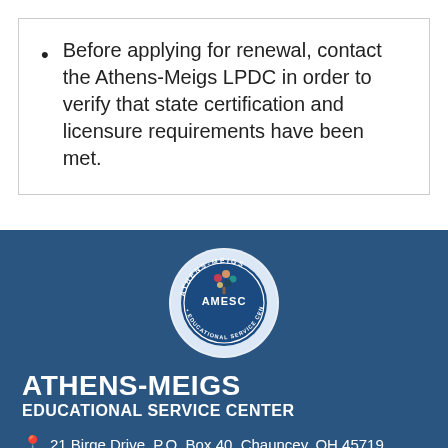Before applying for renewal, contact the Athens-Meigs LPDC in order to verify that state certification and licensure requirements have been met.
[Figure (logo): Athens-Meigs AMESC Educational Service Center circular logo with tree graphic and text around the border]
ATHENS-MEIGS
EDUCATIONAL SERVICE CENTER
21 Birge Drive, P.O. Box 40, Chauncey, OH 45719
Phone: 740-797-0064 Fax: 740-797-0070